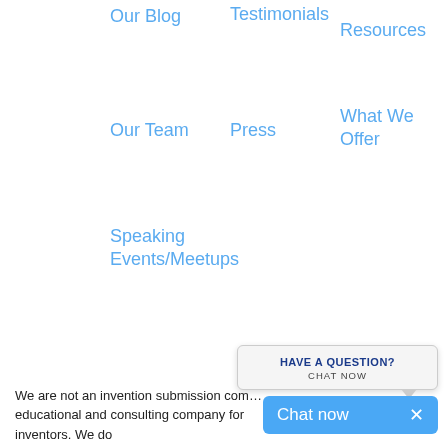Our Blog
Testimonials
Resources
Our Team
Press
What We Offer
Speaking Events/Meetups
[Figure (screenshot): Chat widget with 'HAVE A QUESTION? CHAT NOW' bubble and blue 'Chat now' bar with X close button]
We are not an invention submission com… educational and consulting company for inventors. We do